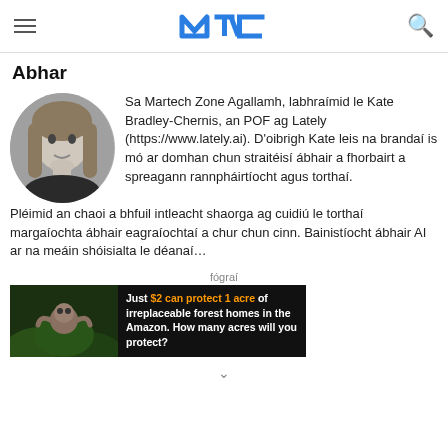MTC (logo), hamburger menu, search icon
Abhar
[Figure (photo): Black and white portrait photo of a woman with long blonde hair, resting her chin on her hand, wearing a dark top.]
Sa Martech Zone Agallamh, labhraímid le Kate Bradley-Chernis, an POF ag Lately (https://www.lately.ai). D'oibrigh Kate leis na brandaí is mó ar domhan chun straitéisí ábhair a fhorbairt a spreagann rannpháirtíocht agus torthaí. Pléimid an chaoi a bhfuil intleacht shaorga ag cuidiú le torthaí margaíochta ábhair eagraíochtaí a chur chun cinn. Bainistíocht ábhair AI ar na meáin shóisialta le déanaí…
fógraí
[Figure (infographic): Advertisement banner with dark background showing wildlife and forest. Text: 'Just $2 can protect 1 acre of irreplaceable forest homes in the Amazon. How many acres will you protect?']